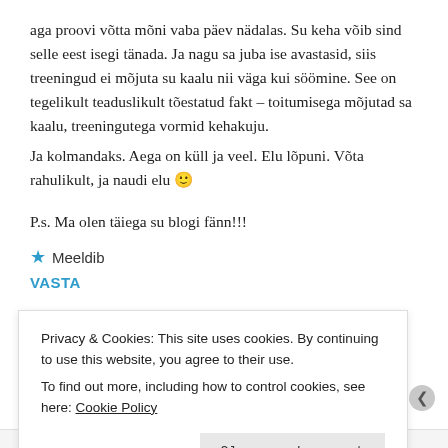aga proovi võtta mõni vaba päev nädalas. Su keha võib sind selle eest isegi tänada. Ja nagu sa juba ise avastasid, siis treeningud ei mõjuta su kaalu nii väga kui söömine. See on tegelikult teaduslikult tõestatud fakt – toitumisega mõjutad sa kaalu, treeningutega vormid kehakuju.
Ja kolmandaks. Aega on küll ja veel. Elu lõpuni. Võta rahulikult, ja naudi elu 🙂
P.s. Ma olen täiega su blogi fänn!!!
★ Meeldib
VASTA
Margit Partei ütles:
Privacy & Cookies: This site uses cookies. By continuing to use this website, you agree to their use.
To find out more, including how to control cookies, see here: Cookie Policy
Close and accept